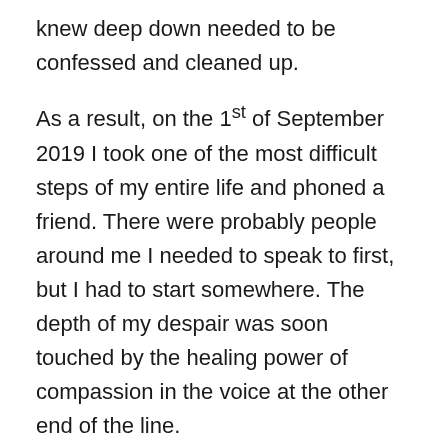knew deep down needed to be confessed and cleaned up.
As a result, on the 1st of September 2019 I took one of the most difficult steps of my entire life and phoned a friend. There were probably people around me I needed to speak to first, but I had to start somewhere. The depth of my despair was soon touched by the healing power of compassion in the voice at the other end of the line.
Up to then I was never known as being a very “vulnerable” person. Little did I realize at the time that the leap of faith that I took on that day would radically alter my life forever.
I often refer to myself as “a recovering perfectionist.” A perfectionist, I’ve learned, longs for a perfect world where he or she can “get everything right” so that they can avoid criticism or judgement from others. If I were to confess my